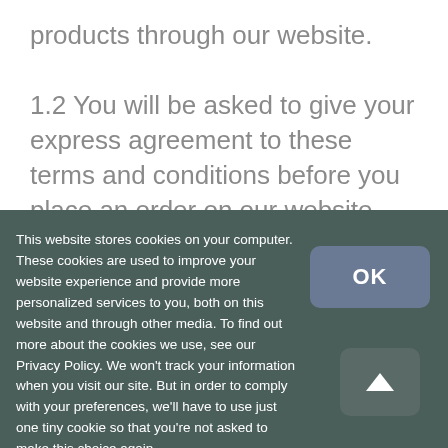products through our website.
1.2 You will be asked to give your express agreement to these terms and conditions before you place an order on our website.
This website stores cookies on your computer. These cookies are used to improve your website experience and provide more personalized services to you, both on this website and through other media. To find out more about the cookies we use, see our Privacy Policy. We won't track your information when you visit our site. But in order to comply with your preferences, we'll have to use just one tiny cookie so that you're not asked to make this choice again.